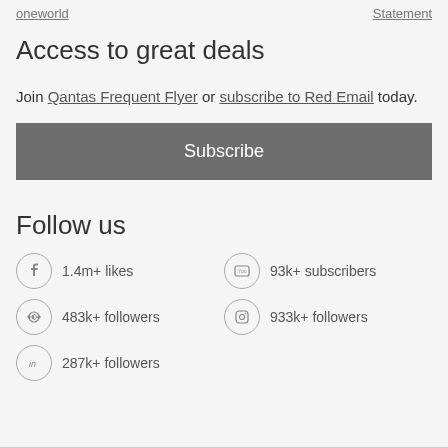oneworld   Statement
Access to great deals
Join Qantas Frequent Flyer or subscribe to Red Email today.
Subscribe
Follow us
1.4m+ likes
93k+ subscribers
483k+ followers
933k+ followers
287k+ followers